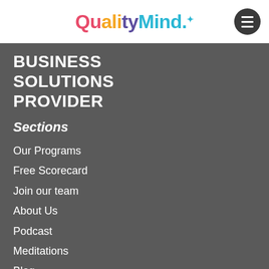QualityMind.
BUSINESS SOLUTIONS PROVIDER
Sections
Our Programs
Free Scorecard
Join our team
About Us
Podcast
Meditations
Blog
Shop
Our Mind Mentors